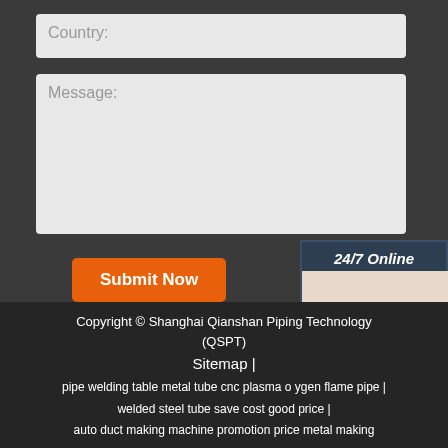Country:
Message:
Submit Now
[Figure (illustration): 24/7 online chat widget with woman wearing headset, 'Click here for free chat!' text, and QUOTATION button]
Copyright © Shanghai Qianshan Piping Technology (QSPT)
Sitemap |
pipe welding table metal tube cnc plasma o ygen flame pipe |
welded steel tube save cost good price |
auto duct making machine promotion price metal making